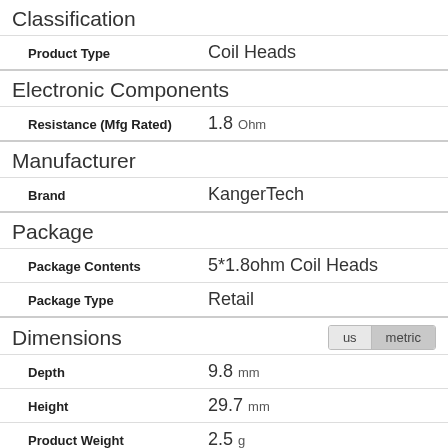Classification
| Property | Value |
| --- | --- |
| Product Type | Coil Heads |
Electronic Components
| Property | Value |
| --- | --- |
| Resistance (Mfg Rated) | 1.8 Ohm |
Manufacturer
| Property | Value |
| --- | --- |
| Brand | KangerTech |
Package
| Property | Value |
| --- | --- |
| Package Contents | 5*1.8ohm Coil Heads |
| Package Type | Retail |
Dimensions
| Property | Value |
| --- | --- |
| Depth | 9.8 mm |
| Height | 29.7 mm |
| Product Weight | 2.5 g |
| Width | 9.8 mm |
FastTech